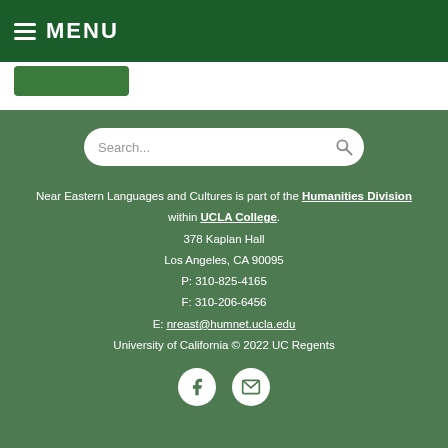MENU
Near Eastern Languages and Cultures is part of the Humanities Division within UCLA College.
378 Kaplan Hall
Los Angeles, CA 90095
P: 310-825-4165
F: 310-206-6456
E: nreast@humnet.ucla.edu
University of California © 2022 UC Regents